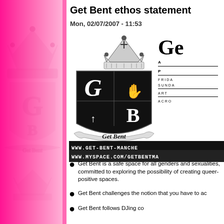Get Bent ethos statement
Mon, 02/07/2007 - 11:53
[Figure (logo): Get Bent heraldic shield logo with crown on top, featuring Gothic letters G and B, and a banner reading 'Get Bent'. Beside it partial text showing 'Ge' in large font, 'A', 'P', 'FRIDA', 'SUNDA', 'ART', 'ACRO' in advertisement block.]
WWW.GET-BENT-MANCH...
WWW.MYSPACE.COM/GETBENTMA...
Get Bent is a safe space for all genders and sexualities, committed to exploring the possibility of creating queer-positive spaces.
Get Bent challenges the notion that you have to ac...
Get Bent follows DJing co...